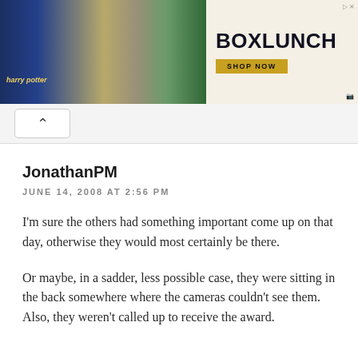[Figure (other): Banner advertisement for BoxLunch Harry Potter merchandise, showing Hogwarts castle, folded clothing items, and dark green sweaters on the left side, with 'BOXLUNCH' text and 'SHOP NOW' button on the right.]
JonathanPM
JUNE 14, 2008 AT 2:56 PM
I'm sure the others had something important come up on that day, otherwise they would most certainly be there.
Or maybe, in a sadder, less possible case, they were sitting in the back somewhere where the cameras couldn't see them. Also, they weren't called up to receive the award.